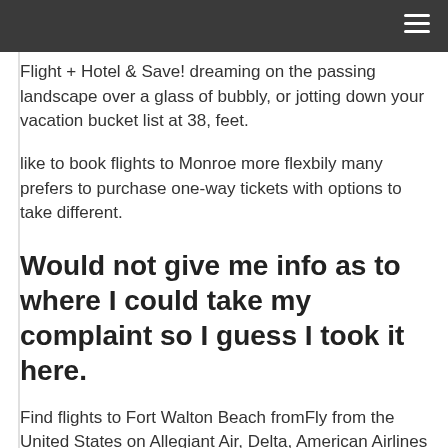Flight + Hotel & Save! dreaming on the passing landscape over a glass of bubbly, or jotting down your vacation bucket list at 38, feet.
like to book flights to Monroe more flexbily many prefers to purchase one-way tickets with options to take different.
Would not give me info as to where I could take my complaint so I guess I took it here.
Find flights to Fort Walton Beach fromFly from the United States on Allegiant Air, Delta, American Airlines and more. Fly from Minneapolis from 45, from Newark from 58, from Dallas from 68, from